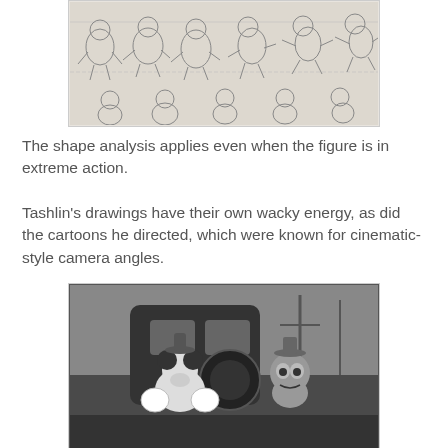[Figure (illustration): Pencil sketch animation model sheet showing a rotund figure (likely a sumo or similar character) in multiple poses and action sequences, arranged in two rows.]
The shape analysis applies even when the figure is in extreme action.
Tashlin's drawings have their own wacky energy, as did the cartoons he directed, which were known for cinematic-style camera angles.
[Figure (photo): Black and white still from an animated cartoon showing two cartoon characters (appearing to be in a confrontational or comedic scene) with a train or vehicle in the background.]